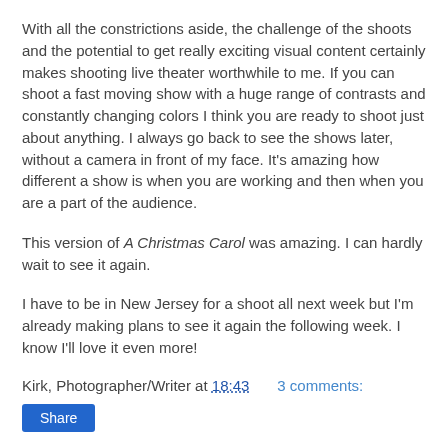With all the constrictions aside, the challenge of the shoots and the potential to get really exciting visual content certainly makes shooting live theater worthwhile to me. If you can shoot a fast moving show with a huge range of contrasts and constantly changing colors I think you are ready to shoot just about anything. I always go back to see the shows later, without a camera in front of my face. It's amazing how different a show is when you are working and then when you are a part of the audience.
This version of A Christmas Carol was amazing. I can hardly wait to see it again.
I have to be in New Jersey for a shoot all next week but I'm already making plans to see it again the following week. I know I'll love it even more!
Kirk, Photographer/Writer at 18:43   3 comments:
Share